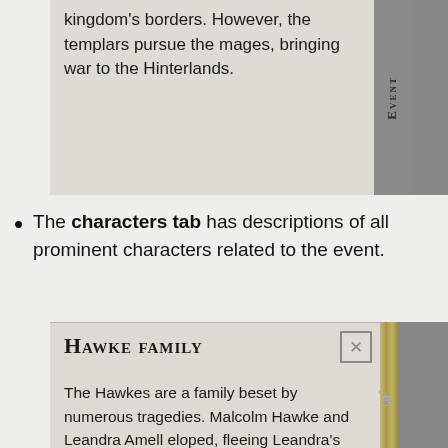[Figure (screenshot): Top portion of a game UI screenshot showing text about kingdom borders, templars pursuing mages, and bringing war to the Hinterlands, with a vertical 'Event' tab on the right side.]
The characters tab has descriptions of all prominent characters related to the event.
[Figure (screenshot): In-game popup showing 'Hawke Family' character description panel with a close button (X), describing the Hawke family history including Malcolm Hawke and Leandra Amell eloping, fleeing Kirkwall, raising three children, Malcolm's death before the Fifth Blight events, and the family returning to Kirkwall.]